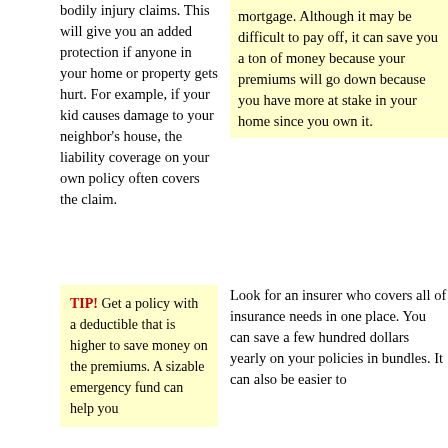bodily injury claims. This will give you an added protection if anyone in your home or property gets hurt. For example, if your kid causes damage to your neighbor's house, the liability coverage on your own policy often covers the claim.
mortgage. Although it may be difficult to pay off, it can save you a ton of money because your premiums will go down because you have more at stake in your home since you own it.
TIP! Get a policy with a deductible that is higher to save money on the premiums. A sizable emergency fund can help you...
Look for an insurer who covers all of insurance needs in one place. You can save a few hundred dollars yearly on your policies in bundles. It can also be easier to...